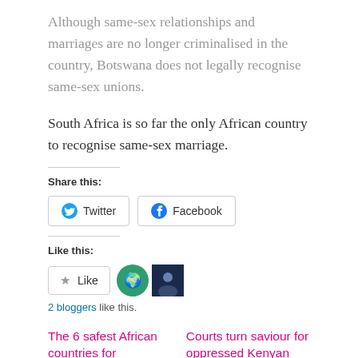Although same-sex relationships and marriages are no longer criminalised in the country, Botswana does not legally recognise same-sex unions.
South Africa is so far the only African country to recognise same-sex marriage.
Share this:
Like this:
2 bloggers like this.
The 6 safest African countries for LGBTIQA+ life and tourism
Courts turn saviour for oppressed Kenyan LGBTQ community